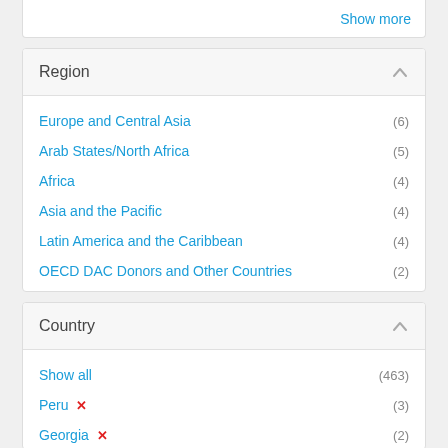Show more
Region
Europe and Central Asia (6)
Arab States/North Africa (5)
Africa (4)
Asia and the Pacific (4)
Latin America and the Caribbean (4)
OECD DAC Donors and Other Countries (2)
Country
Show all (463)
Peru ✗ (3)
Georgia ✗ (2)
Timor-Leste ✗ (2)
Philippines (27)